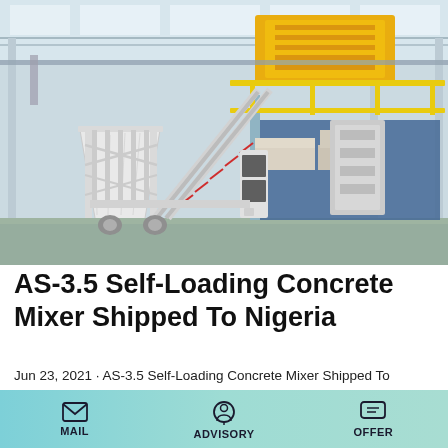[Figure (photo): Industrial factory interior showing a large white AS-3.5 self-loading concrete mixer mounted on a mobile trailer/chassis with yellow safety railings on an elevated platform, conveyor belt system, and large aggregate hopper. The facility has a high ceiling with steel roof trusses and natural light. There is blue industrial equipment and stacked materials visible in the background.]
AS-3.5 Self-Loading Concrete Mixer Shipped To Nigeria
Jun 23, 2021 · AS-3.5 Self-Loading Concrete Mixer Shipped To Nigeria. Kefid. talenet exported AS-3.5 self-loading concrete mixer to Nigeria on June 21. Customer thought self-loading concrete mixer is more convenient to production...
MAIL   ADVISORY   OFFER